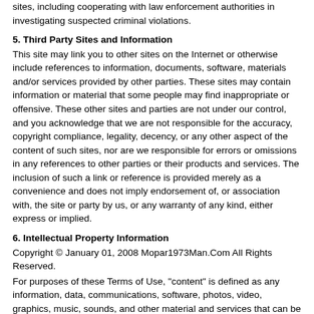sites, including cooperating with law enforcement authorities in investigating suspected criminal violations.
5. Third Party Sites and Information
This site may link you to other sites on the Internet or otherwise include references to information, documents, software, materials and/or services provided by other parties. These sites may contain information or material that some people may find inappropriate or offensive. These other sites and parties are not under our control, and you acknowledge that we are not responsible for the accuracy, copyright compliance, legality, decency, or any other aspect of the content of such sites, nor are we responsible for errors or omissions in any references to other parties or their products and services. The inclusion of such a link or reference is provided merely as a convenience and does not imply endorsement of, or association with, the site or party by us, or any warranty of any kind, either express or implied.
6. Intellectual Property Information
Copyright © January 01, 2008 Mopar1973Man.Com All Rights Reserved.
For purposes of these Terms of Use, "content" is defined as any information, data, communications, software, photos, video, graphics, music, sounds, and other material and services that can be viewed by